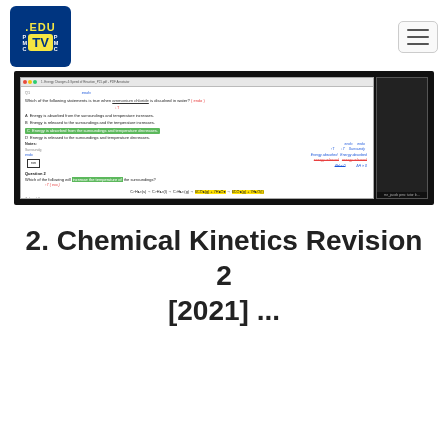[Figure (logo): .EDU TV PMC logo on blue background]
[Figure (screenshot): Screenshot of a chemistry lesson video showing questions about ammonium chloride dissolving in water, energy changes, and a combustion reaction with handwritten annotations]
2. Chemical Kinetics Revision 2 [2021] ...